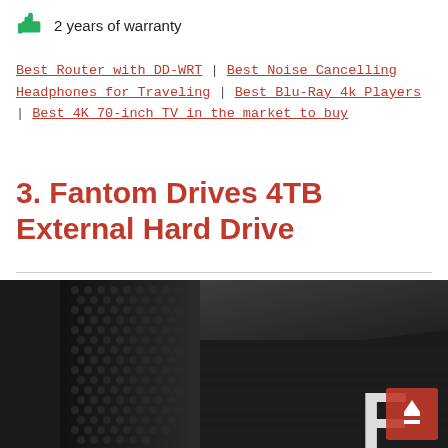2 years of warranty
Best Router with DD-WRT | Best Noise Cancelling Headphones for Traveling | Best Blu-Ray 4k Players | Best 4K 70-inch TV in the market to buy
3. Fantom Drives 4TB External Hard Drive
[Figure (photo): Close-up photo of a Fantom Drives 4TB External Hard Drive showing textured black front panel with honeycomb pattern and brushed aluminum top surface with Fantom Drives logo]